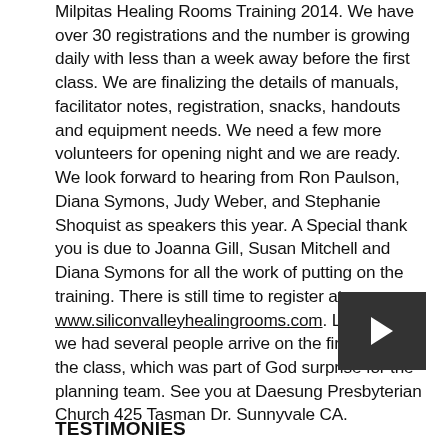Milpitas Healing Rooms Training 2014. We have over 30 registrations and the number is growing daily with less than a week away before the first class. We are finalizing the details of manuals, facilitator notes, registration, snacks, handouts and equipment needs. We need a few more volunteers for opening night and we are ready. We look forward to hearing from Ron Paulson, Diana Symons, Judy Weber, and Stephanie Shoquist as speakers this year. A Special thank you is due to Joanna Gill, Susan Mitchell and Diana Symons for all the work of putting on the training. There is still time to register at www.siliconvalleyhealingrooms.com. Last year we had several people arrive on the first night of the class, which was part of God surprise for the planning team. See you at Daesung Presbyterian Church 425 Tasman Dr. Sunnyvale CA.
[Figure (other): Dark gray navigation button with a right-pointing triangle/arrow icon]
TESTIMONIES